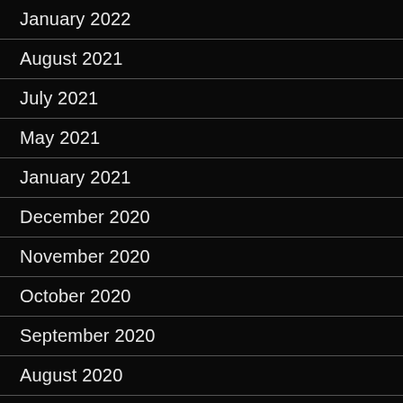January 2022
August 2021
July 2021
May 2021
January 2021
December 2020
November 2020
October 2020
September 2020
August 2020
July 2020
June 2020
April 2020